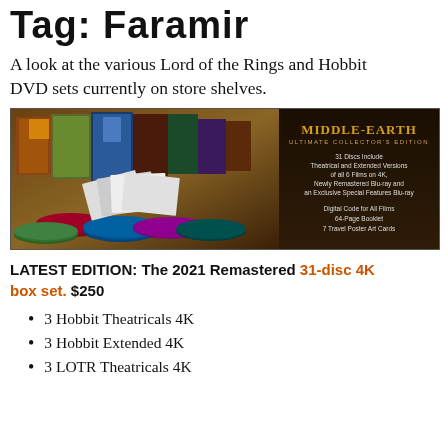Tag: Faramir
A look at the various Lord of the Rings and Hobbit DVD sets currently on store shelves.
[Figure (photo): Middle-Earth Ultimate Collector's Edition box set promotional image showing disc collection with gold text: 31 Discs Include Theatrical and Extended Versions of all 6 Films on 4K, Newly Remastered Blu-ray and an Exclusive Special Features Blu-ray. Digital Code for All Films. 64-Page Booklet. 7 Travel Poster Art Cards.]
LATEST EDITION: The 2021 Remastered 31-disc 4K box set. $250
3 Hobbit Theatricals 4K
3 Hobbit Extended 4K
3 LOTR Theatricals 4K